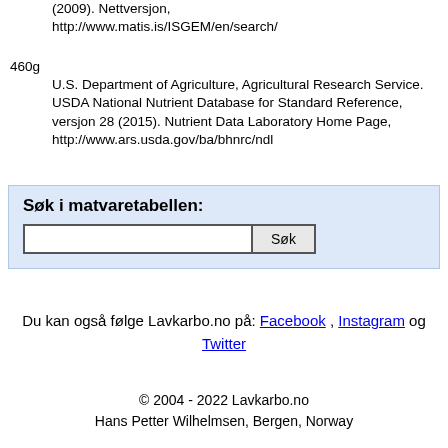(2009). Nettversjon, http://www.matis.is/ISGEM/en/search/
460g   U.S. Department of Agriculture, Agricultural Research Service. USDA National Nutrient Database for Standard Reference, versjon 28 (2015). Nutrient Data Laboratory Home Page, http://www.ars.usda.gov/ba/bhnrc/ndl
[Figure (other): Search box widget with label 'Søk i matvaretabellen:' and input field with Søk button]
Du kan også følge Lavkarbo.no på: Facebook , Instagram og Twitter
© 2004 - 2022 Lavkarbo.no
Hans Petter Wilhelmsen, Bergen, Norway